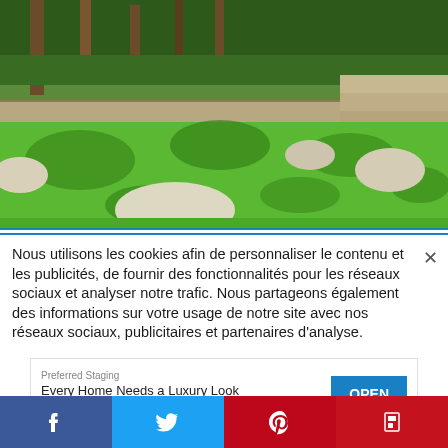[Figure (photo): Outdoor garden scene with circular stone stepping pads on green grass lawn, trees and hedges in the background, stone retaining wall and steps visible]
Nous utilisons les cookies afin de personnaliser le contenu et les publicités, de fournir des fonctionnalités pour les réseaux sociaux et analyser notre trafic. Nous partageons également des informations sur votre usage de notre site avec nos réseaux sociaux, publicitaires et partenaires d'analyse.
Preferred Staging
Every Home Needs a Luxury Look
OPEN
[Figure (infographic): Social media share bar with Facebook, Twitter, Pinterest, and Flipboard buttons]